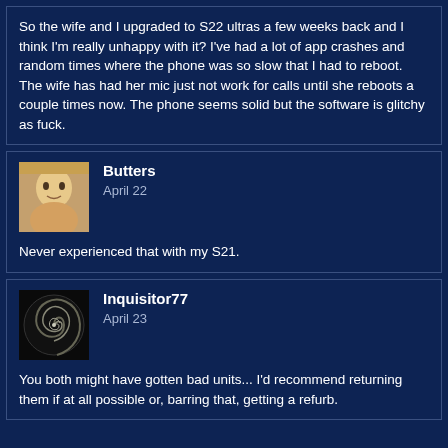So the wife and I upgraded to S22 ultras a few weeks back and I think I'm really unhappy with it? I've had a lot of app crashes and random times where the phone was so slow that I had to reboot. The wife has had her mic just not work for calls until she reboots a couple times now. The phone seems solid but the software is glitchy as fuck.
Butters
April 22

Never experienced that with my S21.
Inquisitor77
April 23

You both might have gotten bad units... I'd recommend returning them if at all possible or, barring that, getting a refurb.